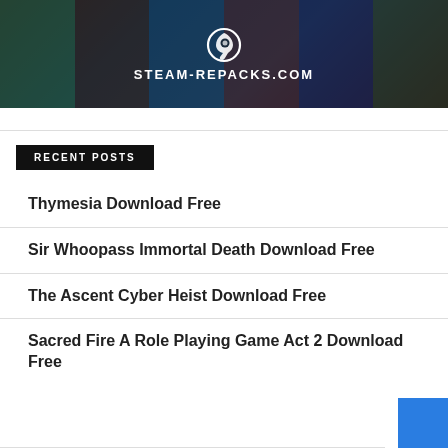[Figure (screenshot): Steam-Repacks.com website banner with Steam logo and dark gaming-themed background showing various game covers]
RECENT POSTS
Thymesia Download Free
Sir Whoopass Immortal Death Download Free
The Ascent Cyber Heist Download Free
Sacred Fire A Role Playing Game Act 2 Download Free